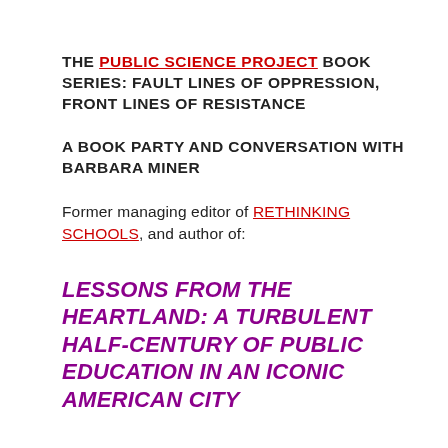THE PUBLIC SCIENCE PROJECT BOOK SERIES: FAULT LINES OF OPPRESSION, FRONT LINES OF RESISTANCE
A BOOK PARTY AND CONVERSATION WITH BARBARA MINER
Former managing editor of RETHINKING SCHOOLS, and author of:
LESSONS FROM THE HEARTLAND: A TURBULENT HALF-CENTURY OF PUBLIC EDUCATION IN AN ICONIC AMERICAN CITY